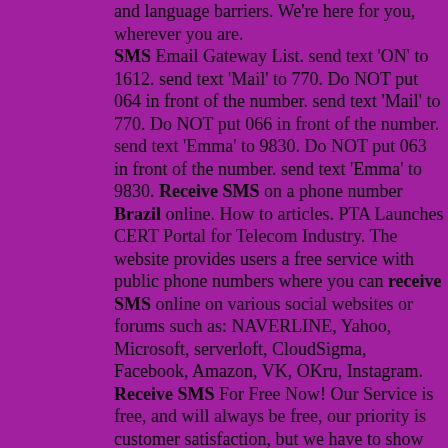and language barriers. We're here for you, wherever you are. SMS Email Gateway List. send text 'ON' to 1612. send text 'Mail' to 770. Do NOT put 064 in front of the number. send text 'Mail' to 770. Do NOT put 066 in front of the number. send text 'Emma' to 9830. Do NOT put 063 in front of the number. send text 'Emma' to 9830. Receive SMS on a phone number Brazil online. How to articles. PTA Launches CERT Portal for Telecom Industry. The website provides users a free service with public phone numbers where you can receive SMS online on various social websites or forums such as: NAVERLINE, Yahoo, Microsoft, serverloft, CloudSigma, Facebook, Amazon, VK, OKru, Instagram. Receive SMS For Free Now! Our Service is free, and will always be free, our priority is customer satisfaction, but we have to show ads to earn a little income, and to always work, We don't want to register or prepay like other companies, so don't worry, we don't we know you will like it, please don't forget to share the site, you can share it with your friends or family, and don't forget to. SMS Number : 1)- This website is public, so DO NOT USE these numbers to receive important messages. 2)- All people can see only the last 100 messages or messages that were received in the last 7-8 days. 3)- You can not see the full number of the sender and it will look like this: +1333333####. Cookies:. uranus and neptune in 2nd houseanatolia tile installation instructionsapp